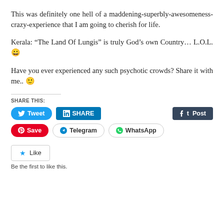This was definitely one hell of a maddening-superbly-awesomeness-crazy-experience that I am going to cherish for life.
Kerala: “The Land Of Lungis” is truly God’s own Country… L.O.L. 😀
Have you ever experienced any such psychotic crowds? Share it with me.. 🙂
SHARE THIS: Tweet | SHARE | Post | Save | Telegram | WhatsApp
Like
Be the first to like this.